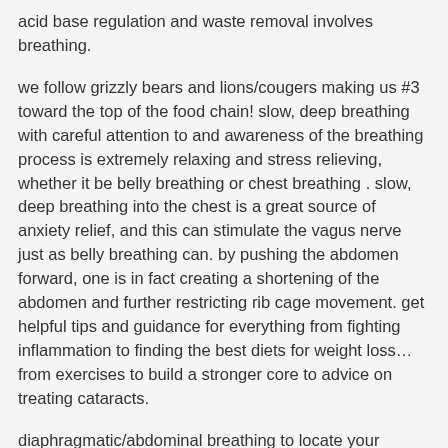acid base regulation and waste removal involves breathing.
we follow grizzly bears and lions/cougers making us #3 toward the top of the food chain! slow, deep breathing with careful attention to and awareness of the breathing process is extremely relaxing and stress relieving, whether it be belly breathing or chest breathing . slow, deep breathing into the chest is a great source of anxiety relief, and this can stimulate the vagus nerve just as belly breathing can. by pushing the abdomen forward, one is in fact creating a shortening of the abdomen and further restricting rib cage movement. get helpful tips and guidance for everything from fighting inflammation to finding the best diets for weight loss…from exercises to build a stronger core to advice on treating cataracts.
diaphragmatic/abdominal breathing to locate your diaphragm, place your hand above your belly button, just below your ribcage. practicing